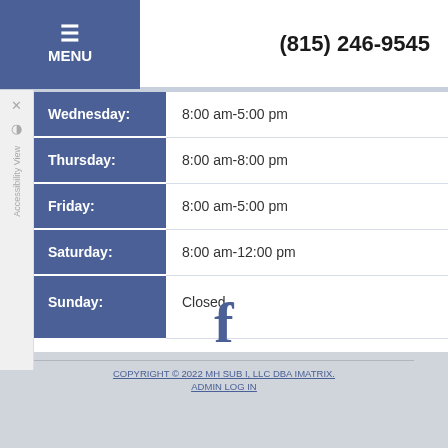MENU | (815) 246-9545
| Day | Hours |
| --- | --- |
| Wednesday: | 8:00 am-5:00 pm |
| Thursday: | 8:00 am-8:00 pm |
| Friday: | 8:00 am-5:00 pm |
| Saturday: | 8:00 am-12:00 pm |
| Sunday: | Closed |
[Figure (logo): Facebook icon]
COPYRIGHT © 2022 MH SUB I, LLC DBA IMATRIX.
ADMIN LOG IN